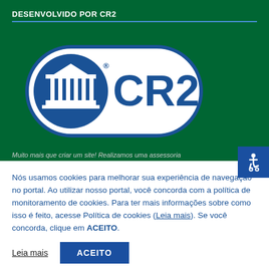DESENVOLVIDO POR CR2
[Figure (logo): CR2 company logo: blue rounded rectangle with a white neoclassical building icon on the left and 'CR2' text in large blue letters on white background, with a registered trademark symbol]
Muito mais que criar um site! Realizamos uma assessoria
Nós usamos cookies para melhorar sua experiência de navegação no portal. Ao utilizar nosso portal, você concorda com a política de monitoramento de cookies. Para ter mais informações sobre como isso é feito, acesse Política de cookies (Leia mais). Se você concorda, clique em ACEITO.
Leia mais
ACEITO